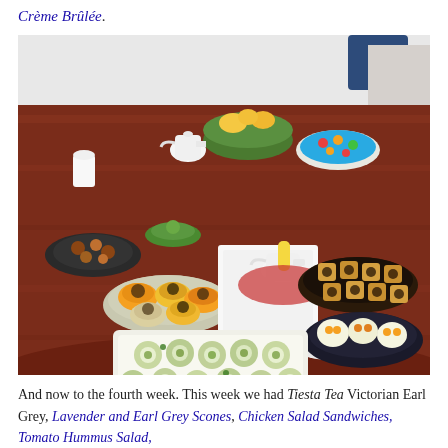Crème Brûlée.
[Figure (photo): A wooden dining table set for a tea party with various dishes including cucumber sandwiches on a white rectangular platter, pastries on a dark decorated plate, stuffed citrus fruits on a platter, decorated colorful plates, tea cups, a teapot, and a green bowl with fruit in the background.]
And now to the fourth week. This week we had Tiesta Tea Victorian Earl Grey, Lavender and Earl Grey Scones, Chicken Salad Sandwiches, Tomato Hummus Salad,